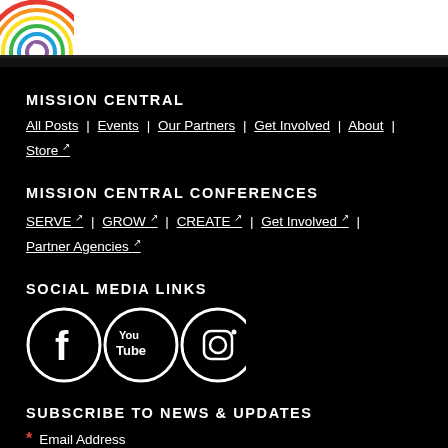Mission Central logo
MISSION CENTRAL
All Posts | Events | Our Partners | Get Involved | About | Store ↗
MISSION CENTRAL CONFERENCES
SERVE ↗ | GROW ↗ | CREATE ↗ | Get Involved ↗ | Partner Agencies ↗
SOCIAL MEDIA LINKS
[Figure (logo): Facebook, YouTube, and Instagram social media circular icons in white on black]
SUBSCRIBE TO NEWS & UPDATES
* Email Address